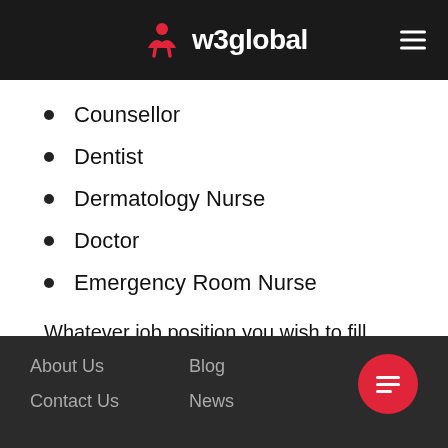w3global
Counsellor
Dentist
Dermatology Nurse
Doctor
Emergency Room Nurse
Whatever job position you wish to fill, don't hesitate to contact the W3global team.
About Us   Blog   Contact Us   News